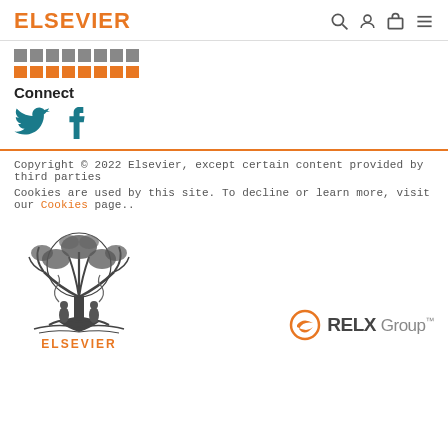ELSEVIER
▓▓▓▓▓▓▓▓
▓▓▓▓▓▓▓▓
Connect
[Figure (illustration): Twitter and Facebook social media icons in teal color]
Copyright © 2022 Elsevier, except certain content provided by third parties
Cookies are used by this site. To decline or learn more, visit our Cookies page..
[Figure (logo): Elsevier tree emblem logo]
[Figure (logo): RELX Group trademark logo]
ELSEVIER